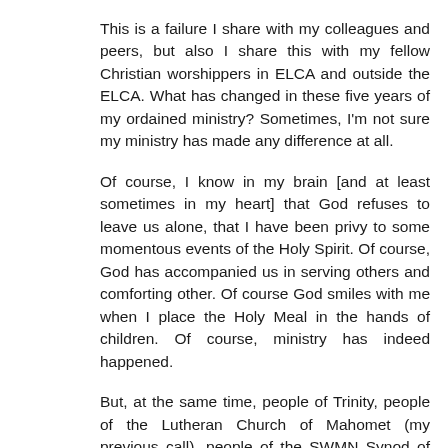This is a failure I share with my colleagues and peers, but also I share this with my fellow Christian worshippers in ELCA and outside the ELCA. What has changed in these five years of my ordained ministry? Sometimes, I'm not sure my ministry has made any difference at all.
Of course, I know in my brain [and at least sometimes in my heart] that God refuses to leave us alone, that I have been privy to some momentous events of the Holy Spirit. Of course, God has accompanied us in serving others and comforting other. Of course God smiles with me when I place the Holy Meal in the hands of children. Of course, ministry has indeed happened.
But, at the same time, people of Trinity, people of the Lutheran Church of Mahomet (my previous call), people of the SWMN Synod of the ELCA, people of the ELCA, Christians everywhere: we have failed in our call to be God's hands and feet. Racial injustice and violence separates us from God and God's children. We must be better. We cannot claim to be Christ's presence on earth if we do not weep at the sin of